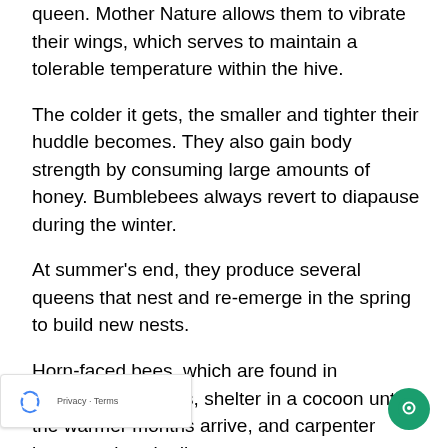queen. Mother Nature allows them to vibrate their wings, which serves to maintain a tolerable temperature within the hive.
The colder it gets, the smaller and tighter their huddle becomes. They also gain body strength by consuming large amounts of honey. Bumblebees always revert to diapause during the winter.
At summer's end, they produce several queens that nest and re-emerge in the spring to build new nests.
Horn-faced bees, which are found in Japanese orchards, shelter in a cocoon until the warmer months arrive, and carpenter bees survive via diapause.